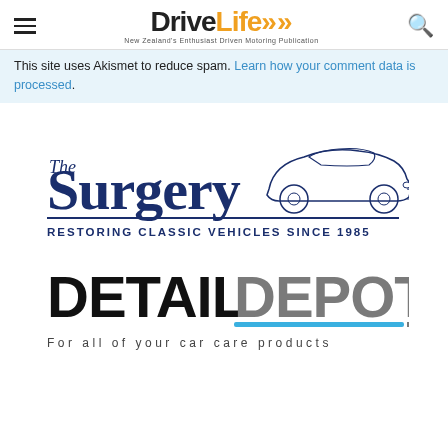DriveLife - New Zealand's Enthusiast Driven Motoring Publication
This site uses Akismet to reduce spam. Learn how your comment data is processed.
[Figure (logo): The Surgery - Restoring Classic Vehicles Since 1985 logo with classic car illustration]
[Figure (logo): Detail Depot - For all of your car care products logo]